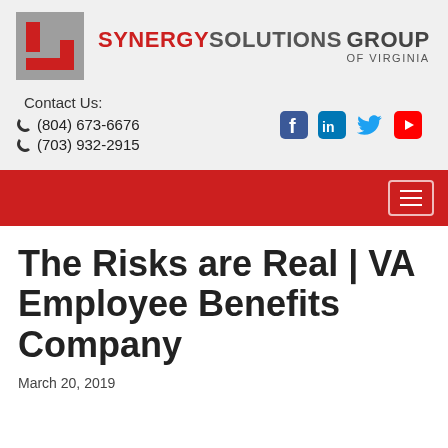[Figure (logo): Synergy Solutions Group of Virginia logo with stylized S icon in red and gray, and company name in red and gray text]
Contact Us:
☎ (804) 673-6676
☎ (703) 932-2915
[Figure (illustration): Social media icons: Facebook, LinkedIn, Twitter, YouTube]
[Figure (screenshot): Red navigation bar with hamburger menu icon on the right]
The Risks are Real | VA Employee Benefits Company
March 20, 2019